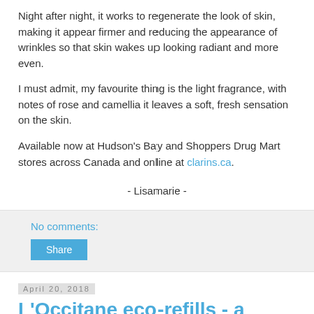Night after night, it works to regenerate the look of skin, making it appear firmer and reducing the appearance of wrinkles so that skin wakes up looking radiant and more even.
I must admit, my favourite thing is the light fragrance, with notes of rose and camellia it leaves a soft, fresh sensation on the skin.
Available now at Hudson's Bay and Shoppers Drug Mart stores across Canada and online at clarins.ca.
- Lisamarie -
No comments:
Share
April 20, 2018
L'Occitane eco-refills - a great way to feel beautiful on Earth Day!